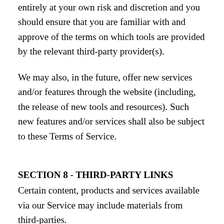entirely at your own risk and discretion and you should ensure that you are familiar with and approve of the terms on which tools are provided by the relevant third-party provider(s).
We may also, in the future, offer new services and/or features through the website (including, the release of new tools and resources). Such new features and/or services shall also be subject to these Terms of Service.
SECTION 8 - THIRD-PARTY LINKS
Certain content, products and services available via our Service may include materials from third-parties.
Third-party links on this site may direct you to third-party websites that are not affiliated with us. We are not responsible for examining or evaluating the content or accuracy and we do not warrant and will not have any